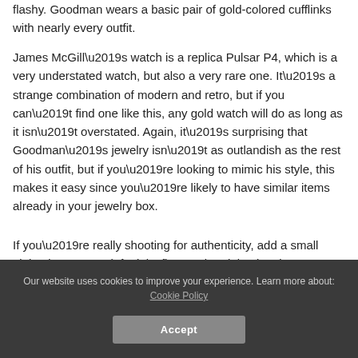flashy. Goodman wears a basic pair of gold-colored cufflinks with nearly every outfit.
James McGill’s watch is a replica Pulsar P4, which is a very understated watch, but also a very rare one. It’s a strange combination of modern and retro, but if you can’t find one like this, any gold watch will do as long as it isn’t overstated. Again, it’s surprising that Goodman’s jewelry isn’t as outlandish as the rest of his outfit, but if you’re looking to mimic his style, this makes it easy since you’re likely to have similar items already in your jewelry box.
If you’re really shooting for authenticity, add a small pinky ring on your left pinky finger. The pinky ring that Goodman wears is
Our website uses cookies to improve your experience. Learn more about: Cookie Policy
Accept